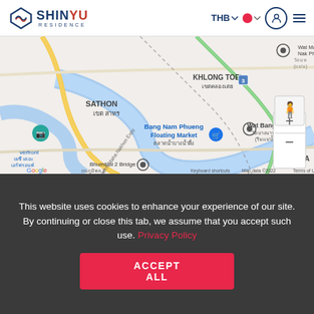SHINYU RESIDENCE — THB — menu
[Figure (map): Google Maps screenshot showing Bangkok area including Sathon, Khlong Toei, Bang Nam Phueng Floating Market, Bhumibol 2 Bridge, Wat Bang Na, with river and roads visible. Map data ©2022.]
This website uses cookies to enhance your experience of our site. By continuing or close this tab, we assume that you accept such use. Privacy Policy
ACCEPT ALL